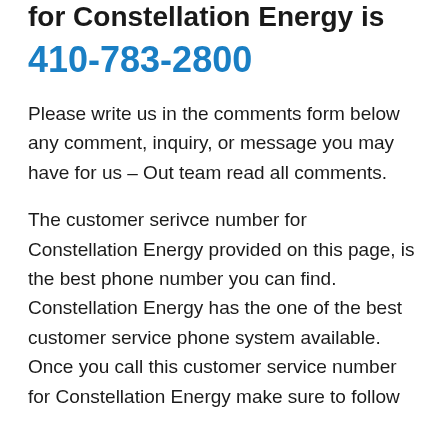for Constellation Energy is 410-783-2800
Please write us in the comments form below any comment, inquiry, or message you may have for us – Out team read all comments.
The customer serivce number for Constellation Energy provided on this page, is the best phone number you can find. Constellation Energy has the one of the best customer service phone system available. Once you call this customer service number for Constellation Energy make sure to follow